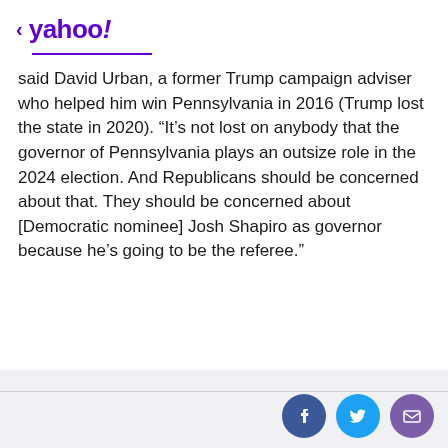< yahoo!
said David Urban, a former Trump campaign adviser who helped him win Pennsylvania in 2016 (Trump lost the state in 2020). “It’s not lost on anybody that the governor of Pennsylvania plays an outsize role in the 2024 election. And Republicans should be concerned about that. They should be concerned about [Democratic nominee] Josh Shapiro as governor because he’s going to be the referee.”